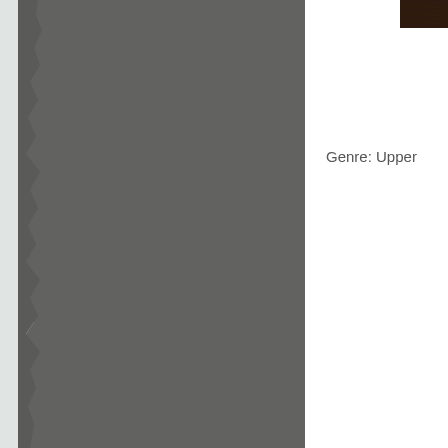[Figure (photo): A large torn-edge gray/dark gray panel occupying the left two-thirds of the page, with a light gray border on the far left edge. The panel appears to be a photographic image of a dark gray textured surface with a rough torn right edge.]
[Figure (photo): A small dark brown wood-grain swatch image in the upper right corner of the page.]
Genre: Upper